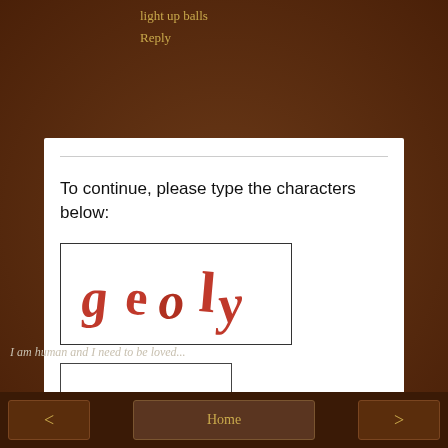light up balls
Reply
To continue, please type the characters below:
[Figure (other): CAPTCHA image showing the text 'geoly' in red distorted font on white background]
I am human and I need to be loved...
< Home >